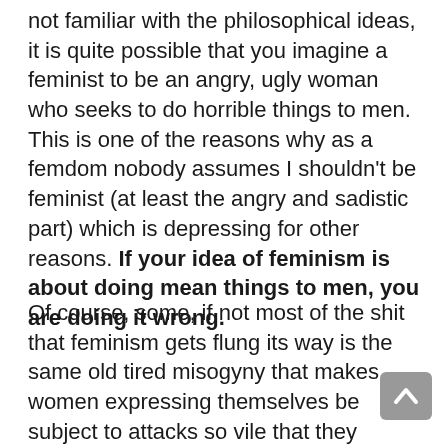not familiar with the philosophical ideas, it is quite possible that you imagine a feminist to be an angry, ugly woman who seeks to do horrible things to men. This is one of the reasons why as a femdom nobody assumes I shouldn't be feminist (at least the angry and sadistic part) which is depressing for other reasons. If your idea of feminism is about doing mean things to men, you are doing it wrong.
Of course, some, if not most of the shit that feminism gets flung its way is the same old tired misogyny that makes women expressing themselves be subject to attacks so vile that they functionally justify feminism.  If you think feminists are all angry scolds, you are part of a proud tradition that